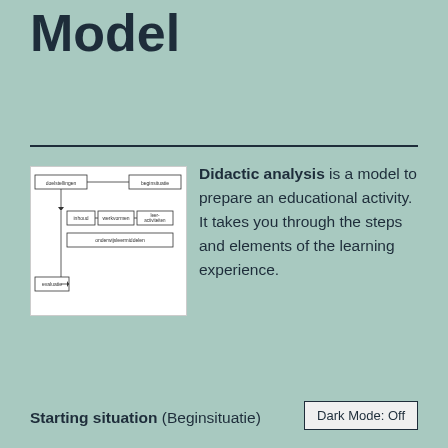Model
[Figure (flowchart): A didactic analysis flowchart showing boxes for doelstellingen, beginsituatie, inhoud, werkvormen, leer-activiteiten, onderwijsleermiddelen, and evaluatie with connecting arrows]
Didactic analysis is a model to prepare an educational activity. It takes you through the steps and elements of the learning experience.
Starting situation (Beginsituatie)
Dark Mode: Off